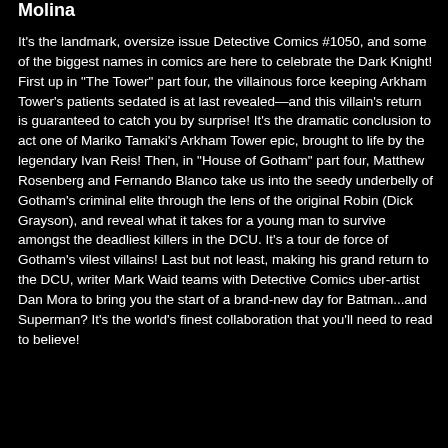Molina
It's the landmark, oversize issue Detective Comics #1050, and some of the biggest names in comics are here to celebrate the Dark Knight! First up in "The Tower" part four, the villainous force keeping Arkham Tower's patients sedated is at last revealed—and this villain's return is guaranteed to catch you by surprise! It's the dramatic conclusion to act one of Mariko Tamaki's Arkham Tower epic, brought to life by the legendary Ivan Reis! Then, in "House of Gotham" part four, Matthew Rosenberg and Fernando Blanco take us into the seedy underbelly of Gotham's criminal elite through the lens of the original Robin (Dick Grayson), and reveal what it takes for a young man to survive amongst the deadliest killers in the DCU. It's a tour de force of Gotham's vilest villains! Last but not least, making his grand return to the DCU, writer Mark Waid teams with Detective Comics uber-artist Dan Mora to bring you the start of a brand-new day for Batman...and Superman? It's the world's finest collaboration that you'll need to read to believe!